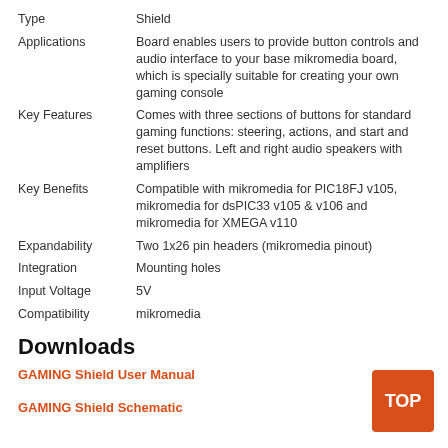| Label | Value |
| --- | --- |
| Type | Shield |
| Applications | Board enables users to provide button controls and audio interface to your base mikromedia board, which is specially suitable for creating your own gaming console |
| Key Features | Comes with three sections of buttons for standard gaming functions: steering, actions, and start and reset buttons. Left and right audio speakers with amplifiers |
| Key Benefits | Compatible with mikromedia for PIC18FJ v105, mikromedia for dsPIC33 v105 & v106 and mikromedia for XMEGA v110 |
| Expandability | Two 1x26 pin headers (mikromedia pinout) |
| Integration | Mounting holes |
| Input Voltage | 5V |
| Compatibility | mikromedia |
Downloads
GAMING Shield User Manual
GAMING Shield Schematic